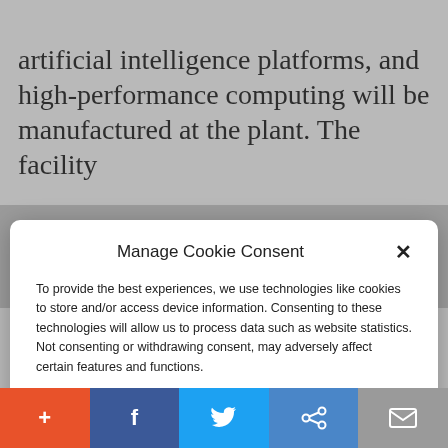artificial intelligence platforms, and high-performance computing will be manufactured at the plant. The facility
Manage Cookie Consent
To provide the best experiences, we use technologies like cookies to store and/or access device information. Consenting to these technologies will allow us to process data such as website statistics. Not consenting or withdrawing consent, may adversely affect certain features and functions.
Accept
Cookie Policy  Privacy Policy
microchips has been damaging to the
[Figure (infographic): Social sharing bar at bottom of page with five buttons: Add (+, orange), Facebook (f, dark blue), Twitter (bird, light blue), Share (chain links, blue), Email (envelope, grey)]